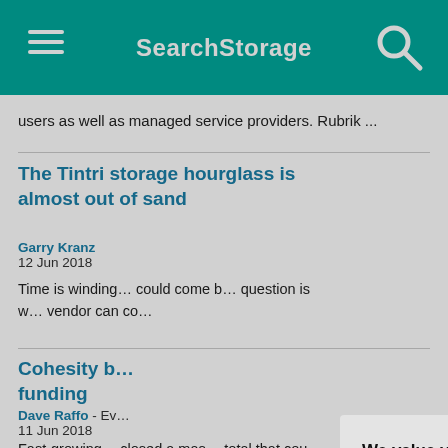SearchStorage
users as well as managed service providers. Rubrik ...
The Tintri storage hourglass is almost out of sand
Garry Kranz
12 Jun 2018
Time is winding down for Tintri storage, and a rescue could come by way of an acquisition. The big question is whether, and on what terms, the storage vendor can co...
Cohesity b... funding
Dave Raffo - Ev...
11 Jun 2018
Fast-growing hyperconverged secondary storage firm closed a mas... total that cou...
We value your privacy.
TechTarget and its partners employ cookies to improve your experience on our site, to analyze traffic and performance, and to serve personalized content and advertising that are relevant to your professional interests. You can manage your settings at any time. Please view our Privacy Policy for more information